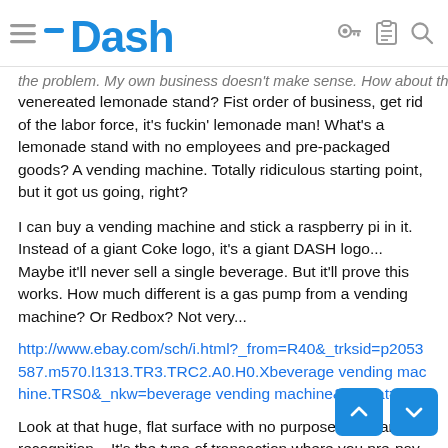Dash
the problem. My own business doesn't make sense. How about the venereated lemonade stand? Fist order of business, get rid of the labor force, it's fuckin' lemonade man! What's a lemonade stand with no employees and pre-packaged goods? A vending machine. Totally ridiculous starting point, but it got us going, right?
I can buy a vending machine and stick a raspberry pi in it. Instead of a giant Coke logo, it's a giant DASH logo... Maybe it'll never sell a single beverage. But it'll prove this works. How much different is a gas pump from a vending machine? Or Redbox? Not very...
http://www.ebay.com/sch/i.html?_from=R40&_trksid=p2053587.m570.l1313.TR3.TRC2.A0.H0.Xbeverage vending machine.TRS0&_nkw=beverage vending machine&_sacat=0
Look at that huge, flat surface with no purpose but brand recognition... It's the type of transaction where you pre-pay, and expect instant receipt. It's also demands absolute security of the transaction. IX loves this idea. Something no satoshi clone can do. It also emphasizes microtransactions. Holy shit I love my br
We could make a promo out of it. Beverages are cheap. We could